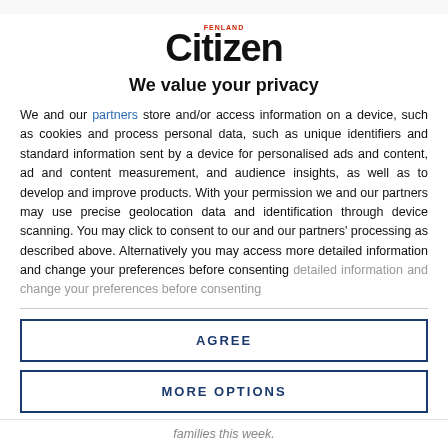[Figure (logo): Fenland Citizen newspaper logo with 'FENLAND' in small red text above 'Citizen' in large bold black text]
We value your privacy
We and our partners store and/or access information on a device, such as cookies and process personal data, such as unique identifiers and standard information sent by a device for personalised ads and content, ad and content measurement, and audience insights, as well as to develop and improve products. With your permission we and our partners may use precise geolocation data and identification through device scanning. You may click to consent to our and our partners' processing as described above. Alternatively you may access more detailed information and change your preferences before consenting
AGREE
MORE OPTIONS
families this week.